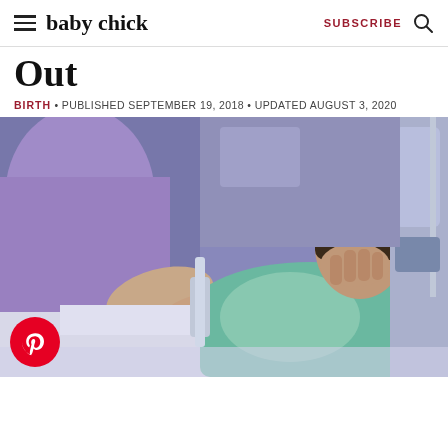baby chick | SUBSCRIBE
Out
BIRTH • PUBLISHED SEPTEMBER 19, 2018 • UPDATED AUGUST 3, 2020
[Figure (photo): A pregnant woman lying in a hospital bed with hand raised to her face in discomfort, while a nurse in purple scrubs places hands on the woman's abdomen. Hospital equipment visible in background.]